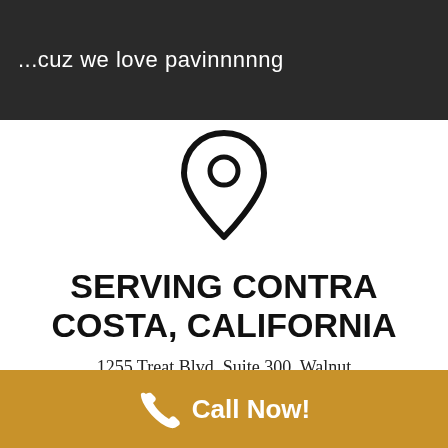[Figure (photo): Dark banner image with text overlay reading '...cuz we love pavinnnnng']
...cuz we love pavinnnnng
[Figure (illustration): Map pin / location marker icon, black outline on white background]
SERVING CONTRA COSTA, CALIFORNIA
1255 Treat Blvd, Suite 300, Walnut Creek, CA 94597
Call Now!